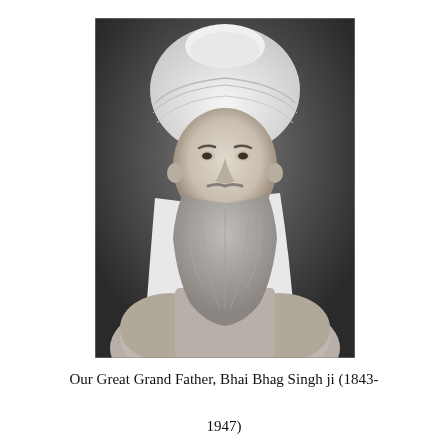[Figure (photo): Black and white portrait photograph of an elderly Sikh man wearing a white turban and white scarf/dupatta over a light-colored suit jacket. He has a long beard and a distinguished, dignified expression. The background is dark grey.]
Our Great Grand Father, Bhai Bhag Singh ji (1843-1947)